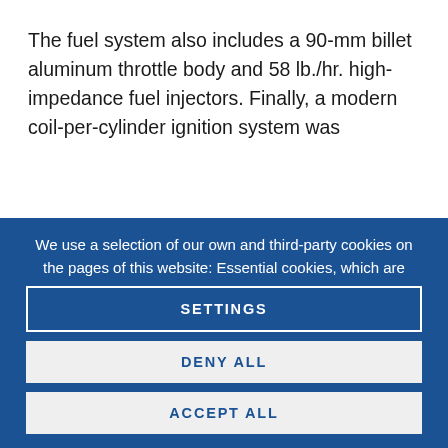The fuel system also includes a 90-mm billet aluminum throttle body and 58 lb./hr. high-impedance fuel injectors. Finally, a modern coil-per-cylinder ignition system was
We use a selection of our own and third-party cookies on the pages of this website: Essential cookies, which are required in order to use the website; functional cookies, which provide better easy of use when visiting the website; for more cookies which
SETTINGS
DENY ALL
ACCEPT ALL